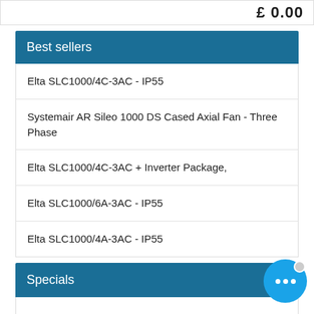£ 0.00
Best sellers
Elta SLC1000/4C-3AC - IP55
Systemair AR Sileo 1000 DS Cased Axial Fan - Three Phase
Elta SLC1000/4C-3AC + Inverter Package,
Elta SLC1000/6A-3AC - IP55
Elta SLC1000/4A-3AC - IP55
Specials